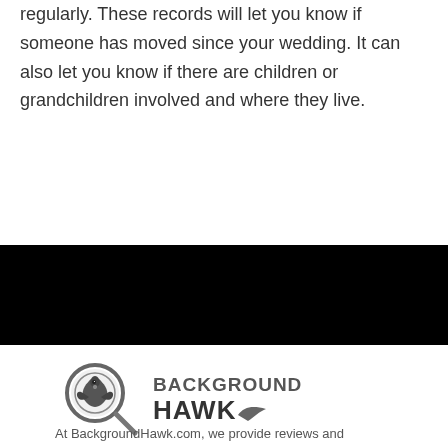regularly. These records will let you know if someone has moved since your wedding. It can also let you know if there are children or grandchildren involved and where they live.
[Figure (logo): BackgroundHawk logo: a circular magnifying glass with a hawk inside, next to bold text reading BACKGROUND HAWK with a wing motif on the K]
At BackgroundHawk.com, we provide reviews and